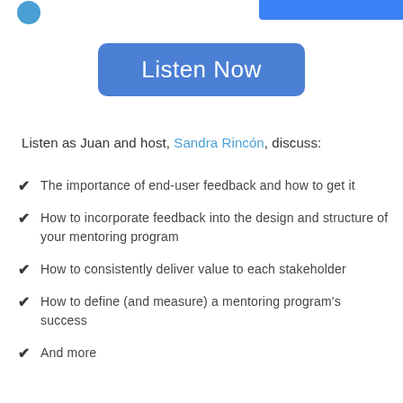Listen Now
Listen as Juan and host, Sandra Rincón, discuss:
The importance of end-user feedback and how to get it
How to incorporate feedback into the design and structure of your mentoring program
How to consistently deliver value to each stakeholder
How to define (and measure) a mentoring program's success
And more